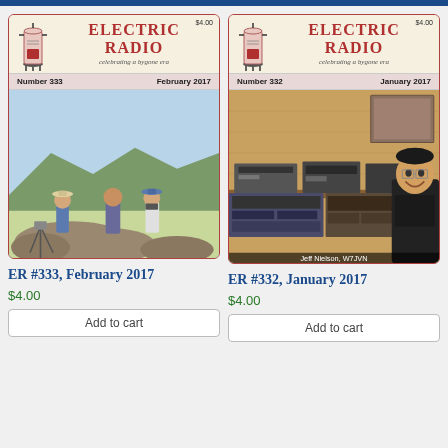[Figure (illustration): Magazine cover for Electric Radio Number 333, February 2017, showing three people on a rocky hilltop with landscape behind]
ER #333, February 2017
$4.00
Add to cart
[Figure (illustration): Magazine cover for Electric Radio Number 332, January 2017, showing man seated at a ham radio station with equipment, captioned Jeff Nielson, W7JVN]
ER #332, January 2017
$4.00
Add to cart